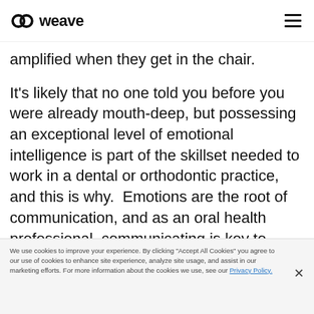weave
amplified when they get in the chair.
It's likely that no one told you before you were already mouth-deep, but possessing an exceptional level of emotional intelligence is part of the skillset needed to work in a dental or orthodontic practice, and this is why. Emotions are the root of communication, and as an oral health professional, communicating is key to helping your patients cope with their
We use cookies to improve your experience. By clicking "Accept All Cookies" you agree to our use of cookies to enhance site experience, analyze site usage, and assist in our marketing efforts. For more information about the cookies we use, see our Privacy Policy.